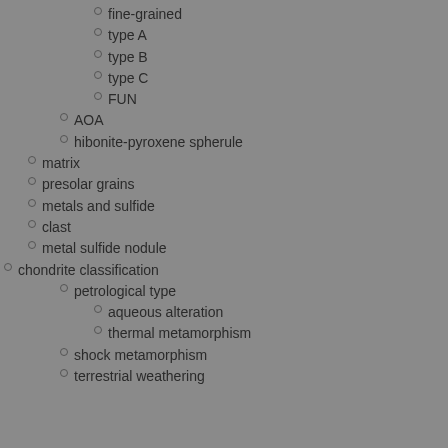fine-grained
type A
type B
type C
FUN
AOA
hibonite-pyroxene spherule
matrix
presolar grains
metals and sulfide
clast
metal sulfide nodule
chondrite classification
petrological type
aqueous alteration
thermal metamorphism
shock metamorphism
terrestrial weathering